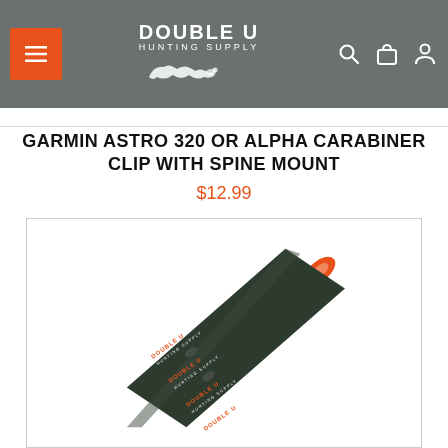Double U Hunting Supply — navigation header with menu, logo, search, cart, account icons
GARMIN ASTRO 320 OR ALPHA CARABINER CLIP WITH SPINE MOUNT
$12.99
[Figure (photo): Product photo of a branded Double U Hunting Supply lanyard/strap with orange end and dark green/camo body with logo text, shown diagonally on white background]